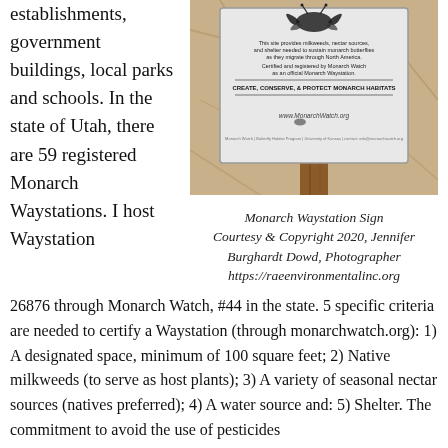establishments, government buildings, local parks and schools. In the state of Utah, there are 59 registered Monarch Waystations. I host Waystation 26876 through Monarch Watch, #44 in the state. 5 specific criteria are needed to certify a Waystation (through monarchwatch.org): 1) A designated space, minimum of 100 square feet; 2) Native milkweeds (to serve as host plants); 3) A variety of seasonal nectar sources (natives preferred); 4) A water source and: 5) Shelter. The commitment to avoid the use of pesticides
[Figure (photo): Monarch Waystation sign on a wooden post. The sign reads: This site provides milkweeds, nectar sources, and shelter needed to sustain monarch butterflies as they migrate through North America. Certified and registered by Monarch Watch as an official Monarch Waystation. CREATE, CONSERVE, & PROTECT MONARCH HABITATS. www.MonarchWatch.org. A monarch butterfly illustration is at the top.]
Monarch Waystation Sign Courtesy & Copyright 2020, Jennifer Burghardt Dowd, Photographer https://raeenvironmentalinc.org